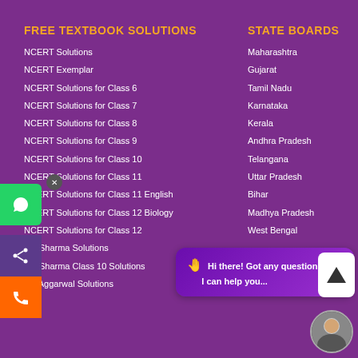FREE TEXTBOOK SOLUTIONS
NCERT Solutions
NCERT Exemplar
NCERT Solutions for Class 6
NCERT Solutions for Class 7
NCERT Solutions for Class 8
NCERT Solutions for Class 9
NCERT Solutions for Class 10
NCERT Solutions for Class 11
NCERT Solutions for Class 11 English
NCERT Solutions for Class 12 Biology
NCERT Solutions for Class 12
RD Sharma Solutions
RD Sharma Class 10 Solutions
RS Aggarwal Solutions
STATE BOARDS
Maharashtra
Gujarat
Tamil Nadu
Karnataka
Kerala
Andhra Pradesh
Telangana
Uttar Pradesh
Bihar
Madhya Pradesh
West Bengal
[Figure (screenshot): Chat bubble overlay: Hi there! Got any questions? I can help you...]